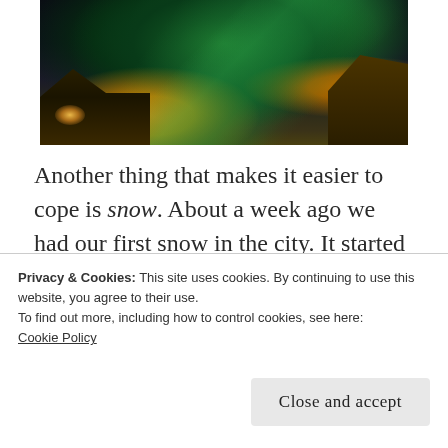[Figure (photo): Photograph of northern lights (aurora borealis) in a dark night sky over illuminated houses/buildings with warm orange-yellow glow from windows]
Another thing that makes it easier to cope is snow. About a week ago we had our first snow in the city. It started snowing on the 26th and by the morning of the 27th there were several inches on the ground. It stuck
Privacy & Cookies: This site uses cookies. By continuing to use this website, you agree to their use.
To find out more, including how to control cookies, see here:
Cookie Policy
Close and accept
starts to get lighter again, so that's nicer